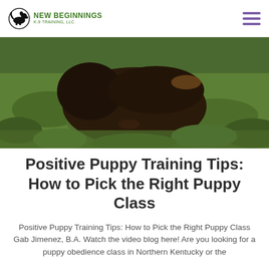NEW BEGINNINGS K-9 TRAINING, LLC
[Figure (photo): A dark brown puppy lying in green grass outdoors, photographed from above.]
Positive Puppy Training Tips: How to Pick the Right Puppy Class
Positive Puppy Training Tips: How to Pick the Right Puppy Class Gab Jimenez, B.A. Watch the video blog here! Are you looking for a puppy obedience class in Northern Kentucky or the